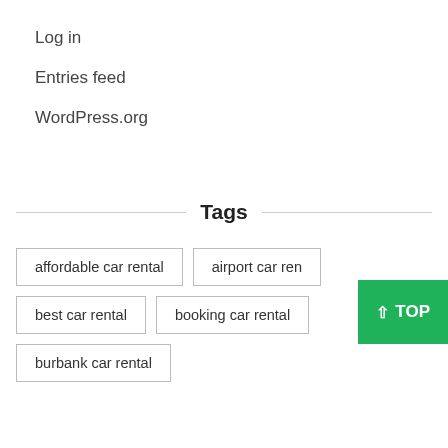Log in
Entries feed
WordPress.org
Tags
affordable car rental
airport car rental
best car rental
booking car rental
burbank car rental